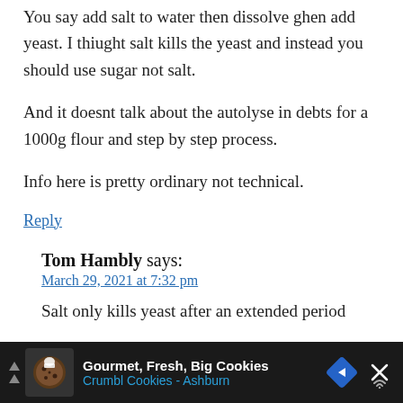You say add salt to water then dissolve ghen add yeast. I thiught salt kills the yeast and instead you should use sugar not salt.
And it doesnt talk about the autolyse in debts for a 1000g flour and step by step process.
Info here is pretty ordinary not technical.
Reply
Tom Hambly says:
March 29, 2021 at 7:32 pm
Salt only kills yeast after an extended period
[Figure (other): Advertisement bar at the bottom: Gourmet, Fresh, Big Cookies - Crumbl Cookies - Ashburn, with a cookie icon, blue navigation arrow icon, and close X button, on a dark background.]